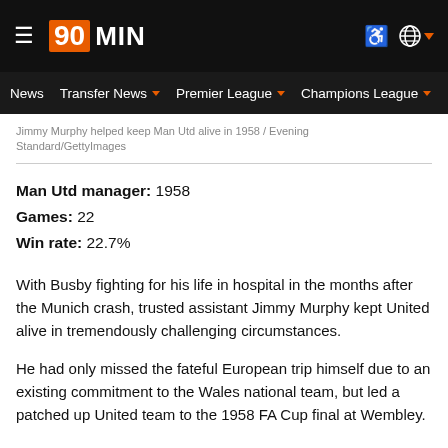90MIN — News | Transfer News | Premier League | Champions League | Eu
Jimmy Murphy helped keep Man Utd alive in 1958 / Evening Standard/GettyImages
Man Utd manager: 1958
Games: 22
Win rate: 22.7%
With Busby fighting for his life in hospital in the months after the Munich crash, trusted assistant Jimmy Murphy kept United alive in tremendously challenging circumstances.
He had only missed the fateful European trip himself due to an existing commitment to the Wales national team, but led a patched up United team to the 1958 FA Cup final at Wembley.